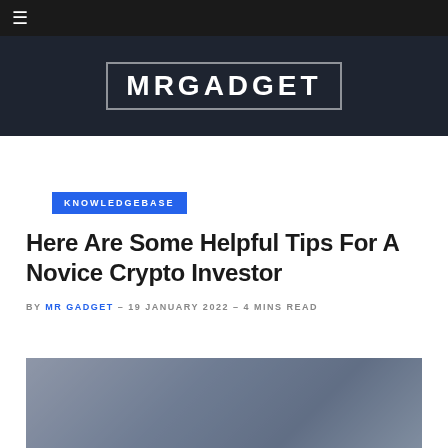≡
[Figure (logo): MRGADGET logo in white text on dark navy background with border outline]
KNOWLEDGEBASE
Here Are Some Helpful Tips For A Novice Crypto Investor
BY MR GADGET – 19 JANUARY 2022 – 4 MINS READ
[Figure (photo): Blurred dark photo image at bottom of page, partially visible]